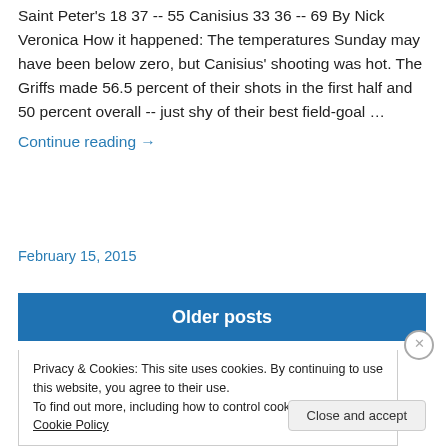Saint Peter's 18 37 -- 55 Canisius 33 36 -- 69 By Nick Veronica How it happened: The temperatures Sunday may have been below zero, but Canisius' shooting was hot. The Griffs made 56.5 percent of their shots in the first half and 50 percent overall -- just shy of their best field-goal …
Continue reading →
February 15, 2015
Older posts
Privacy & Cookies: This site uses cookies. By continuing to use this website, you agree to their use.
To find out more, including how to control cookies, see here: Cookie Policy
Close and accept